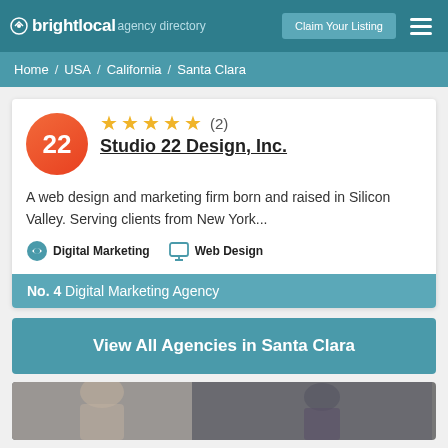brightlocal agency directory | Claim Your Listing
Home / USA / California / Santa Clara
22 ★★★★★ (2) Studio 22 Design, Inc.
A web design and marketing firm born and raised in Silicon Valley. Serving clients from New York...
Digital Marketing  Web Design
No. 4 Digital Marketing Agency
View All Agencies in Santa Clara
[Figure (photo): Photo of people in a business setting, partially visible at bottom of page]